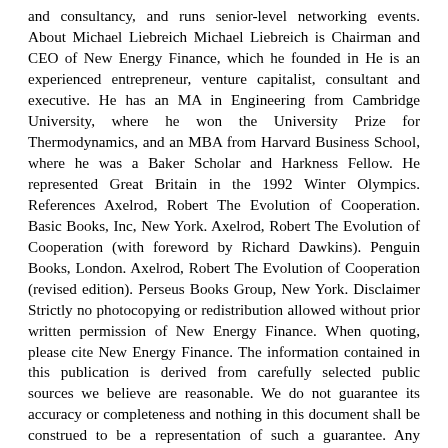and consultancy, and runs senior-level networking events. About Michael Liebreich Michael Liebreich is Chairman and CEO of New Energy Finance, which he founded in He is an experienced entrepreneur, venture capitalist, consultant and executive. He has an MA in Engineering from Cambridge University, where he won the University Prize for Thermodynamics, and an MBA from Harvard Business School, where he was a Baker Scholar and Harkness Fellow. He represented Great Britain in the 1992 Winter Olympics. References Axelrod, Robert The Evolution of Cooperation. Basic Books, Inc, New York. Axelrod, Robert The Evolution of Cooperation (with foreword by Richard Dawkins). Penguin Books, London. Axelrod, Robert The Evolution of Cooperation (revised edition). Perseus Books Group, New York. Disclaimer Strictly no photocopying or redistribution allowed without prior written permission of New Energy Finance. When quoting, please cite New Energy Finance. The information contained in this publication is derived from carefully selected public sources we believe are reasonable. We do not guarantee its accuracy or completeness and nothing in this document shall be construed to be a representation of such a guarantee. Any opinions expressed reflect the current judgment of the